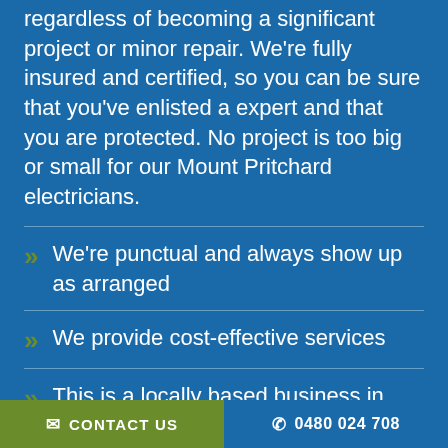regardless of becoming a significant project or minor repair. We're fully insured and certified, so you can be sure that you've enlisted a expert and that you are protected. No project is too big or small for our Mount Pritchard electricians.
We're punctual and always show up as arranged
We provide cost-effective services
This is a locally based business in Mount Pritchard
Security is one of the top priorities when working on any project
CONTACT US   0480 024 708